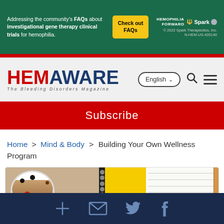[Figure (other): Advertisement banner for Hemophilia Forward by Spark Therapeutics - green background with text about FAQs for investigational gene therapy clinical trials for hemophilia, yellow button saying Check out FAQs, Hemophilia Forward Spark logo on right]
[Figure (logo): HemAware - The Bleeding Disorders Magazine logo with navigation controls including English language selector, search icon, and hamburger menu]
Subscribe
Home > Mind & Body > Building Your Own Wellness Program
[Figure (photo): Top-down view of a bowl of granola with berries next to yellow spiral notebook and lined paper with pencil]
Social share icons: add, email, twitter, facebook